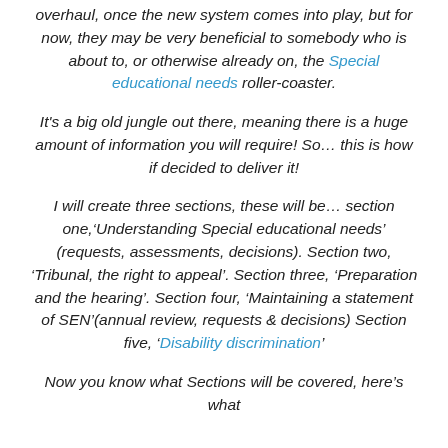overhaul, once the new system comes into play, but for now, they may be very beneficial to somebody who is about to, or otherwise already on, the Special educational needs roller-coaster.
It's a big old jungle out there, meaning there is a huge amount of information you will require! So… this is how if decided to deliver it!
I will create three sections, these will be… section one,'Understanding Special educational needs' (requests, assessments, decisions). Section two, 'Tribunal, the right to appeal'. Section three, 'Preparation and the hearing'. Section four, 'Maintaining a statement of SEN'(annual review, requests & decisions) Section five, 'Disability discrimination'
Now you know what Sections will be covered, here's what